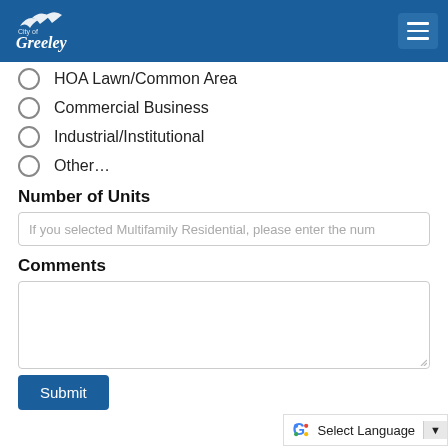City of Greeley
HOA Lawn/Common Area
Commercial Business
Industrial/Institutional
Other…
Number of Units
If you selected Multifamily Residential, please enter the num
Comments
Submit